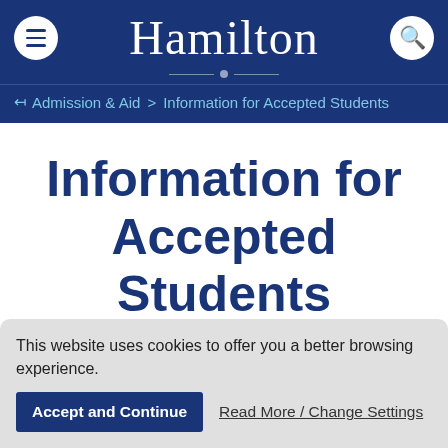Hamilton
← Admission & Aid > Information for Accepted Students
Information for Accepted Students
This website uses cookies to offer you a better browsing experience.
Accept and Continue
Read More / Change Settings